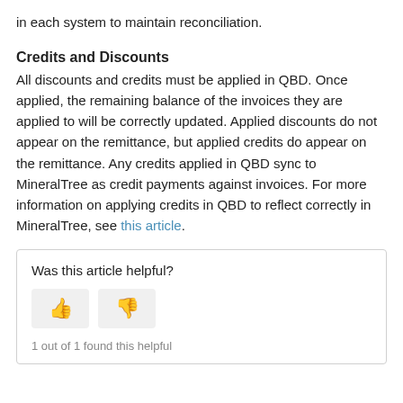in each system to maintain reconciliation.
Credits and Discounts
All discounts and credits must be applied in QBD. Once applied, the remaining balance of the invoices they are applied to will be correctly updated. Applied discounts do not appear on the remittance, but applied credits do appear on the remittance. Any credits applied in QBD sync to MineralTree as credit payments against invoices. For more information on applying credits in QBD to reflect correctly in MineralTree, see this article.
Was this article helpful?
1 out of 1 found this helpful